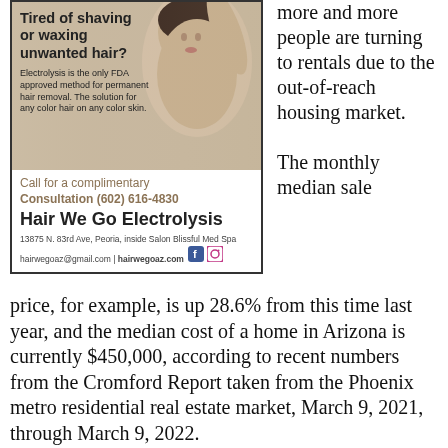[Figure (advertisement): Advertisement for Hair We Go Electrolysis showing a woman raising her arm with headline 'Tired of shaving or waxing unwanted hair?' and contact information including phone (602) 616-4830, address 13875 N. 83rd Ave, Peoria, inside Salon Blissful Med Spa, hairwegoaz@gmail.com, hairwegoaz.com]
more and more people are turning to rentals due to the out-of-reach housing market. The monthly median sale price, for example, is up 28.6% from this time last year, and the median cost of a home in Arizona is currently $450,000, according to recent numbers from the Cromford Report taken from the Phoenix metro residential real estate market, March 9, 2021, through March 9, 2022.
Making it even more difficult to wrangle a home, the